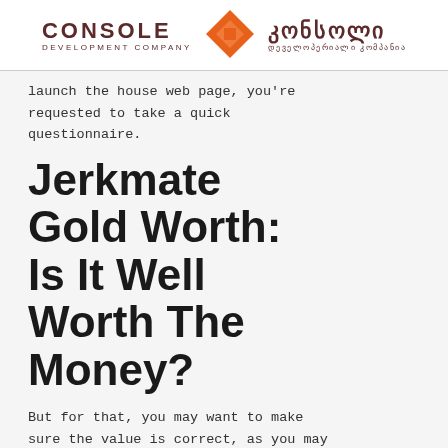[Figure (logo): Console Development Company logo with orange diamond icon and Georgian script version]
launch the house web page, you're requested to take a quick questionnaire.
Jerkmate Gold Worth: Is It Well Worth The Money?
But for that, you may want to make sure the value is correct, as you may be charged as you go. However, probably the most thrilling features are not unlocked by the premium account, however by your direct donations. You